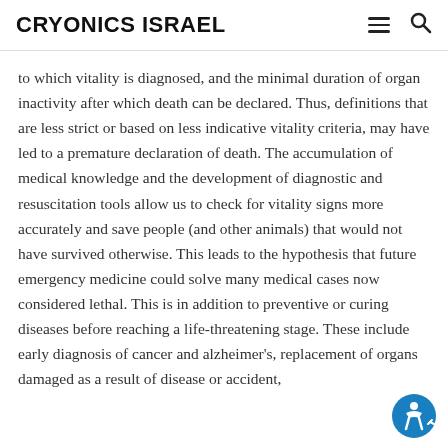CRYONICS ISRAEL
to which vitality is diagnosed, and the minimal duration of organ inactivity after which death can be declared. Thus, definitions that are less strict or based on less indicative vitality criteria, may have led to a premature declaration of death. The accumulation of medical knowledge and the development of diagnostic and resuscitation tools allow us to check for vitality signs more accurately and save people (and other animals) that would not have survived otherwise. This leads to the hypothesis that future emergency medicine could solve many medical cases now considered lethal. This is in addition to preventive or curing diseases before reaching a life-threatening stage. These include early diagnosis of cancer and alzheimer's, replacement of organs damaged as a result of disease or accident,